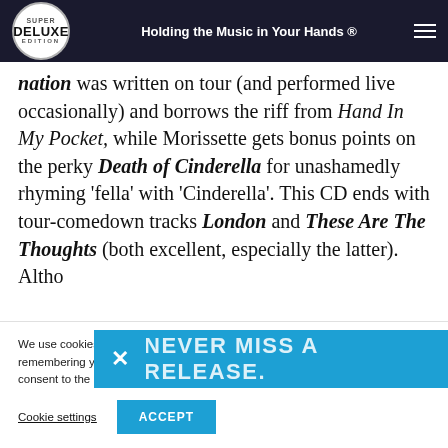Super Deluxe Edition — Holding the Music in Your Hands ®
ation was written on tour (and performed live occasionally) and borrows the riff from Hand In My Pocket, while Morissette gets bonus points on the perky Death of Cinderella for unashamedly rhyming 'fella' with 'Cinderella'. This CD ends with tour-comedown tracks London and These Are The Thoughts (both excellent, especially the latter). Altho
[Figure (infographic): Blue banner overlay with X close button and text 'NEVER MISS A RELEASE.']
We use cookies on our website to give you the most relevant experience by remembering your preferences and repeat visits. By clicking "Accept", you consent to the use of ALL the cookies.
Cookie settings | ACCEPT